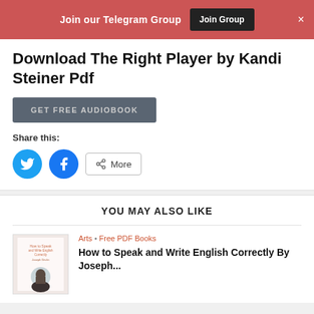Join our Telegram Group  Join Group  ×
Download The Right Player by Kandi Steiner Pdf
GET FREE AUDIOBOOK
Share this:
YOU MAY ALSO LIKE
Arts • Free PDF Books
How to Speak and Write English Correctly By Joseph...